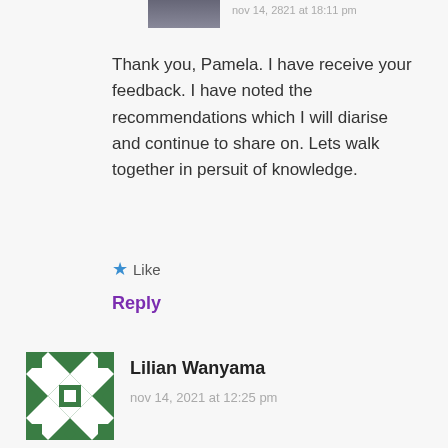Thank you, Pamela. I have receive your feedback. I have noted the recommendations which I will diarise and continue to share on. Lets walk together in persuit of knowledge.
Like
Reply
Lilian Wanyama
nov 14, 2021 at 12:25 pm
Thank you alot for the articles.indeed they are very informative to the entire society at large. Would like to get more of the same on weekly